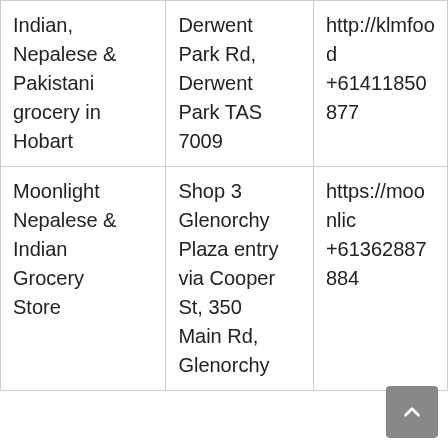| Indian, Nepalese & Pakistani grocery in Hobart | Derwent Park Rd, Derwent Park TAS 7009 | http://klmfood
+61411850877 |
| Moonlight Nepalese & Indian Grocery Store | Shop 3 Glenorchy Plaza entry via Cooper St, 350 Main Rd, Glenorchy | https://moonlig
+61362887884 |